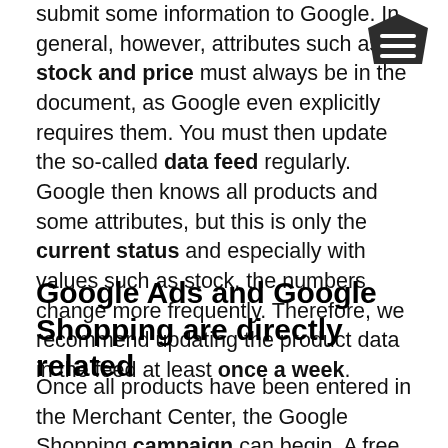submit some information to Google. In general, however, attributes such as stock and price must always be in the document, as Google even explicitly requires them. You must then update the so-called data feed regularly. Google then knows all products and some attributes, but this is only the current status and especially with values such as stock, the numbers change more frequently. Therefore, we recommend updating the product data in the feed at least once a week.
Google Ads and Google Shopping are directly related
Once all products have been entered in the Merchant Center, the Google Shopping campaign can begin. A free Google Ads account is required for this. A campaign can